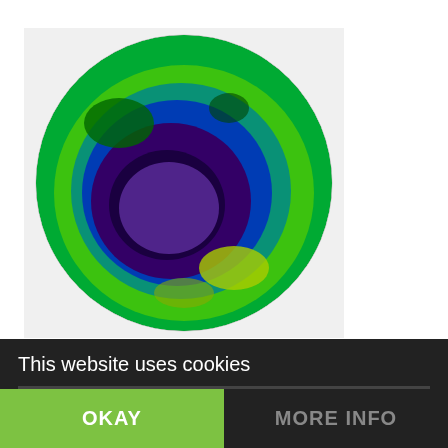[Figure (photo): Satellite image of the Antarctic ozone hole, showing a false-color view of the ozone layer with a large dark purple/blue region over Antarctica surrounded by green and yellow areas indicating varying ozone concentrations.]
Ozone Depletion
In the previous sections, we have seen that everything the Bible describes as being a characteristic of the Great Tribulation also correlates precisely to what is now expected … [more]
This website uses cookies
OKAY
MORE INFO